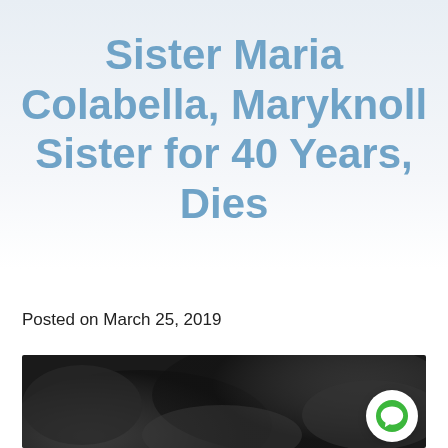Sister Maria Colabella, Maryknoll Sister for 40 Years, Dies
Posted on March 25, 2019
[Figure (photo): A dark black-and-white photograph, partially visible at the bottom of the page, showing a blurred or smoky scene.]